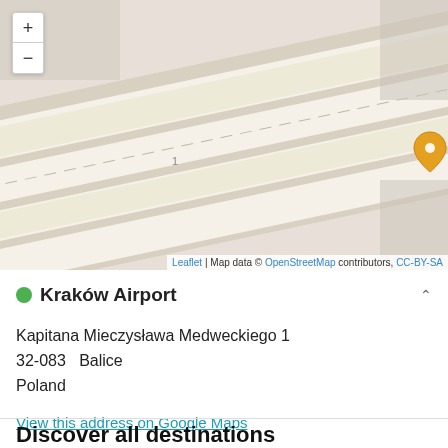[Figure (map): OpenStreetMap showing location of Kraków Airport (Balice) with an orange map pin marker. Map shows road/runway layout. Zoom controls (+/-) visible top left. Attribution: Leaflet | Map data © OpenStreetMap contributors, CC-BY-SA]
Kraków Airport
Kapitana Mieczysława Medweckiego 1
32-083  Balice
Poland
View this address on Google Maps
Discover all destinations